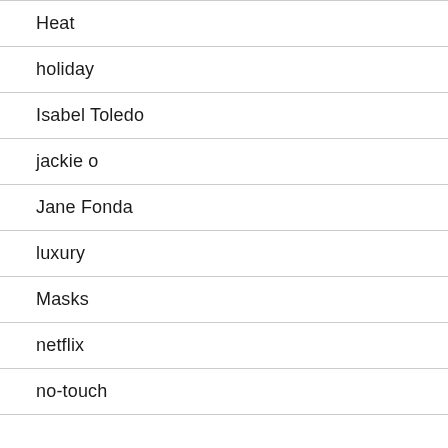Heat
holiday
Isabel Toledo
jackie o
Jane Fonda
luxury
Masks
netflix
no-touch